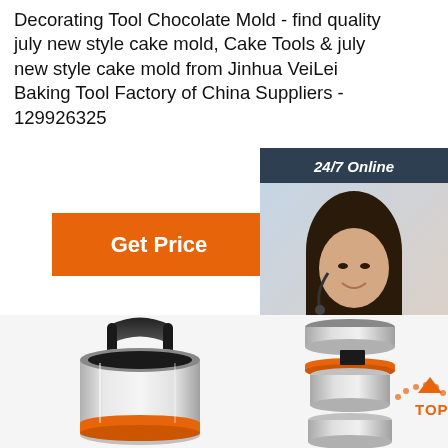Decorating Tool Chocolate Mold - find quality july new style cake mold, Cake Tools & july new style cake mold from Jinhua VeiLei Baking Tool Factory of China Suppliers - 129926325
[Figure (other): Orange 'Get Price' button]
[Figure (other): Sidebar with '24/7 Online' header, female customer service representative with headset, 'Click here for free chat!' text, and orange QUOTATION button]
[Figure (photo): Product photos of stainless steel thermal food containers/tiffin carriers with black handle, orange accent ring, showing full container on left and exploded/separated view on right with TOP badge]
Click here for free chat !
QUOTATION
24/7 Online
TOP